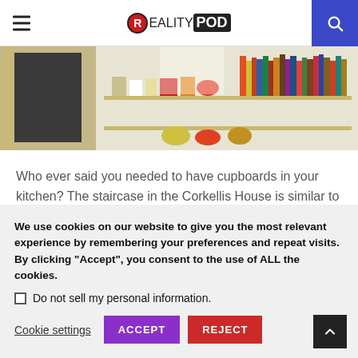RealityPod
[Figure (photo): Kitchen interior with open wooden shelving displaying books, cookware, and colorful kitchen items, with a chalkboard-painted cabinet section visible on the left.]
Who ever said you needed to have cupboards in your kitchen? The staircase in the Corkellis House is similar to the one designed by NC2 Architecture as it serves both as a shelf and a staircase.
We use cookies on our website to give you the most relevant experience by remembering your preferences and repeat visits. By clicking “Accept”, you consent to the use of ALL the cookies.
☐ Do not sell my personal information.
Cookie settings  ACCEPT  REJECT